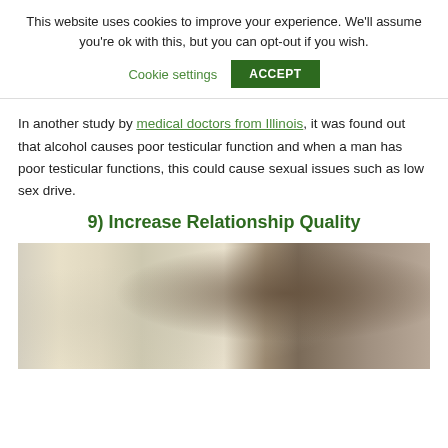This website uses cookies to improve your experience. We'll assume you're ok with this, but you can opt-out if you wish.
Cookie settings | ACCEPT
In another study by medical doctors from Illinois, it was found out that alcohol causes poor testicular function and when a man has poor testicular functions, this could cause sexual issues such as low sex drive.
9) Increase Relationship Quality
[Figure (photo): A blurred photograph showing what appears to be a person near a bed or furniture, with soft background lighting and curtains visible.]